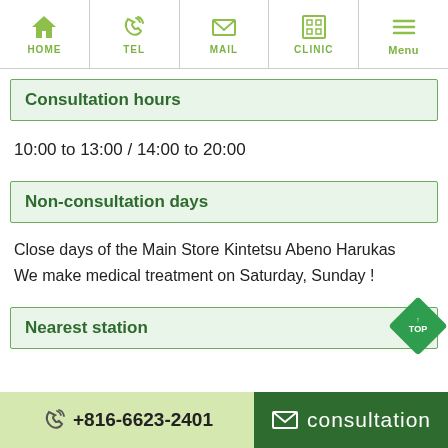HOME | TEL | MAIL | CLINIC | Menu
Consultation hours
10:00 to 13:00 / 14:00 to 20:00
Non-consultation days
Close days of the Main Store Kintetsu Abeno Harukas
We make medical treatment on Saturday, Sunday !
Nearest station
+816-6623-2401 | consultation